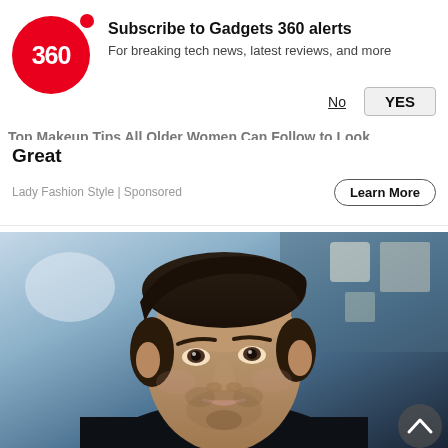[Figure (screenshot): Gadgets 360 browser notification prompt with red circular logo showing '360', bold title 'Subscribe to Gadgets 360 alerts', subtitle 'For breaking tech news, latest reviews, and more', with No and YES buttons]
Top Makeup Tips All Older Women Can Follow to Look Great
Lady Fashion Style | Sponsored
[Figure (photo): Close-up portrait of a young man with dark hair styled upward, light beard, wearing a dark jacket, against a blurred indoor background]